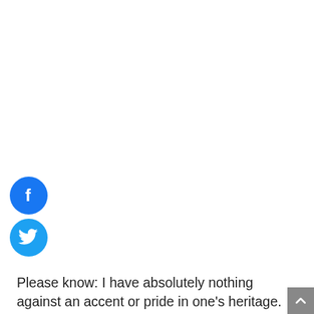[Figure (logo): Facebook circular icon with white 'f' on blue background]
[Figure (logo): Twitter circular icon with white bird on blue background]
Please know: I have absolutely nothing against an accent or pride in one’s heritage. Take Passaic's mayor, Hector Lora, for example. He's a tremendous talent with a stellar vocabulary who is likely proud of his Dominican lineage. I heard him give a moving speech at PCCC and was impressed with his eloquent candor and accomplishments. You want to know why he's such a skilled orator? Because